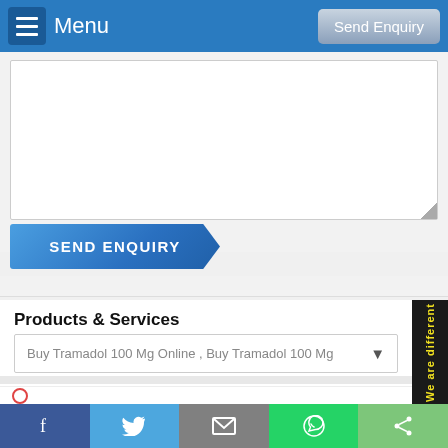Menu | Send Enquiry
[Figure (screenshot): Textarea form field for enquiry message, partially visible white input box with resize handle]
SEND ENQUIRY
Products & Services
Buy Tramadol 100 Mg Online , Buy Tramadol 100 Mg
Listed Under
Medicines- Medicine Store- Pharmacy
Pills - Pharmaceutical
[Figure (other): Side vertical banner with yellow text reading 'We are different' on black background]
Facebook | Twitter | Email | WhatsApp | Share